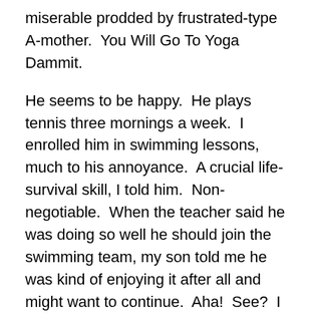miserable prodded by frustrated-type A-mother.  You Will Go To Yoga Dammit.
He seems to be happy.  He plays tennis three mornings a week.  I enrolled him in swimming lessons, much to his annoyance.  A crucial life-survival skill, I told him.  Non-negotiable.  When the teacher said he was doing so well he should join the swimming team, my son told me he was kind of enjoying it after all and might want to continue.  Aha!  See?  I should push him more!
The rest of the time, he pads around the house watching television, checking on his basil and tomato plants, playing with our beloved parakeets, lying on his bed daydreaming.  He'll practice his guitar and do his summer reading with some nagging.  He'll even do some chores around the house – though it takes some pleading